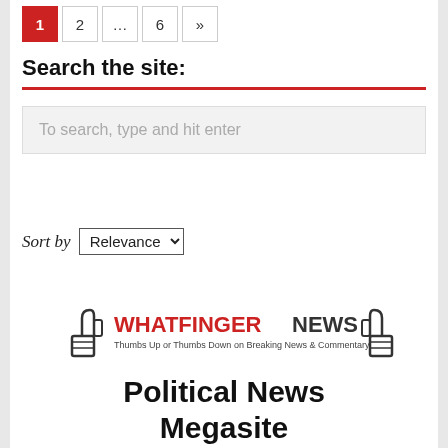1 2 ... 6 »
Search the site:
To search, type and hit enter
Sort by Relevance
[Figure (logo): Whatfinger News logo with thumbs up and thumbs down icons. Text reads: WHATFINGERNEWS Thumbs Up or Thumbs Down on Breaking News & Commentary]
Political News Megasite
Tap Here